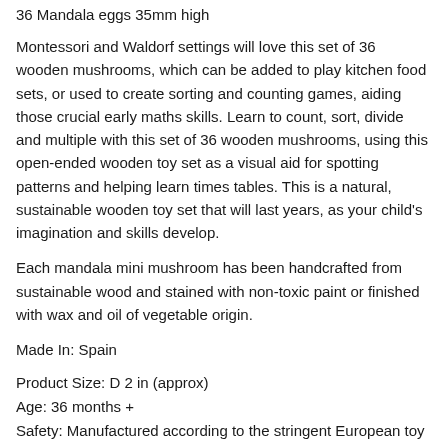36 Mandala eggs 35mm high
Montessori and Waldorf settings will love this set of 36 wooden mushrooms, which can be added to play kitchen food sets, or used to create sorting and counting games, aiding those crucial early maths skills. Learn to count, sort, divide and multiple with this set of 36 wooden mushrooms, using this open-ended wooden toy set as a visual aid for spotting patterns and helping learn times tables. This is a natural, sustainable wooden toy set that will last years, as your child's imagination and skills develop.
Each mandala mini mushroom has been handcrafted from sustainable wood and stained with non-toxic paint or finished with wax and oil of vegetable origin.
Made In: Spain
Product Size: D 2 in (approx)
Age: 36 months +
Safety: Manufactured according to the stringent European toy safety directive EN-71